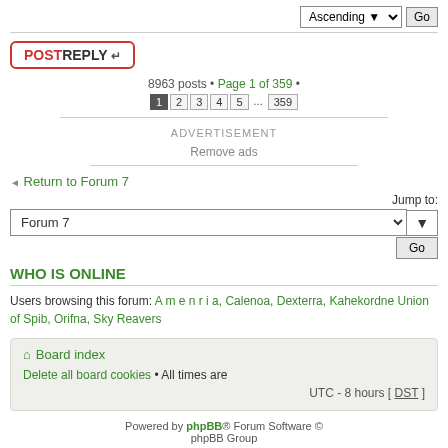Ascending  Go
POST REPLY ↵
8963 posts • Page 1 of 359 • 1 2 3 4 5 ... 359
ADVERTISEMENT
Remove ads
◄ Return to Forum 7
Jump to: Forum 7  Go
WHO IS ONLINE
Users browsing this forum: A m e n r i a, Calenoa, Dexterra, Kahekordne Union of Spib, Orifna, Sky Reavers
⌂ Board index
Delete all board cookies • All times are
UTC - 8 hours [ DST ]
Powered by phpBB® Forum Software © phpBB Group